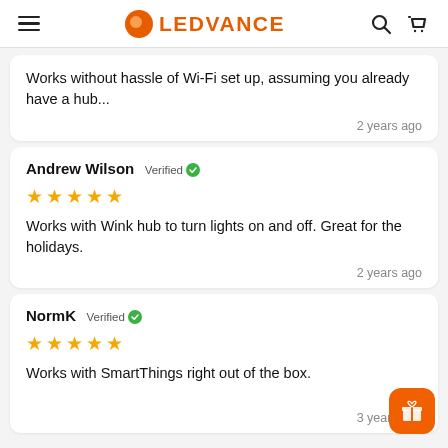LEDVANCE
Works without hassle of Wi-Fi set up, assuming you already have a hub...
2 years ago
Andrew Wilson Verified
★★★★★
Works with Wink hub to turn lights on and off. Great for the holidays.
2 years ago
NormK Verified
★★★★★
Works with SmartThings right out of the box.
3 years ago